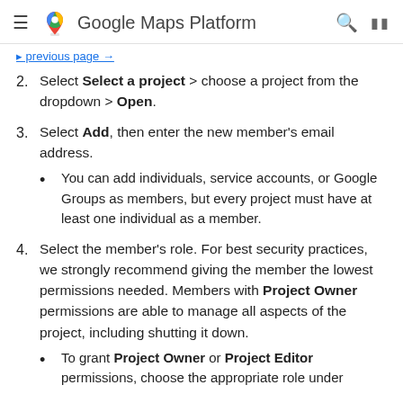Google Maps Platform
Select Select a project > choose a project from the dropdown > Open.
Select Add, then enter the new member's email address.
You can add individuals, service accounts, or Google Groups as members, but every project must have at least one individual as a member.
Select the member's role. For best security practices, we strongly recommend giving the member the lowest permissions needed. Members with Project Owner permissions are able to manage all aspects of the project, including shutting it down.
To grant Project Owner or Project Editor permissions, choose the appropriate role under